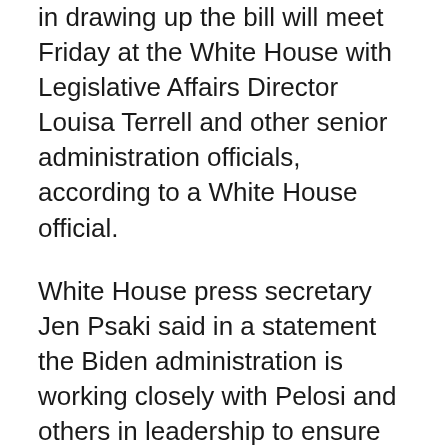representing committees that would be involved in drawing up the bill will meet Friday at the White House with Legislative Affairs Director Louisa Terrell and other senior administration officials, according to a White House official.
White House press secretary Jen Psaki said in a statement the Biden administration is working closely with Pelosi and others in leadership to ensure House passage of both the infrastructure bill and the budget resolution.
“Just as Senate Democrats came together to advance both key elements of the President’s economic agenda – the Bipartisan Infrastructure Bill and the Budget Resolution that is the framework for our Build Back Better plan – we are confident that House Democrats